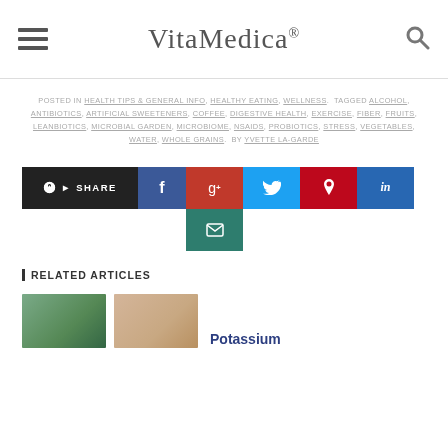VitaMedica®
POSTED IN HEALTH TIPS & GENERAL INFO, HEALTHY EATING, WELLNESS. TAGGED ALCOHOL, ANTIBIOTICS, ARTIFICIAL SWEETENERS, COFFEE, DIGESTIVE HEALTH, EXERCISE, FIBER, FRUITS, LEANBIOTICS, MICROBIAL GARDEN, MICROBIOME, NSAIDS, PROBIOTICS, STRESS, VEGETABLES, WATER, WHOLE GRAINS. BY YVETTE LA-GARDE
[Figure (screenshot): Social share buttons: SHARE (black), Facebook (dark blue), Google+ (red), Twitter (light blue), Pinterest (dark red), LinkedIn (blue), Email (teal)]
RELATED ARTICLES
[Figure (photo): Two thumbnail images for related articles, and partial title 'Potassium']